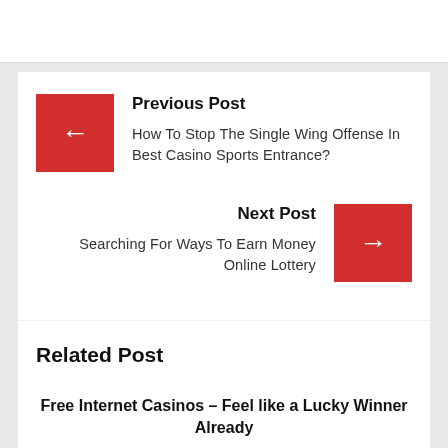Previous Post
How To Stop The Single Wing Offense In Best Casino Sports Entrance?
Next Post
Searching For Ways To Earn Money Online Lottery
Related Post
Free Internet Casinos – Feel like a Lucky Winner Already